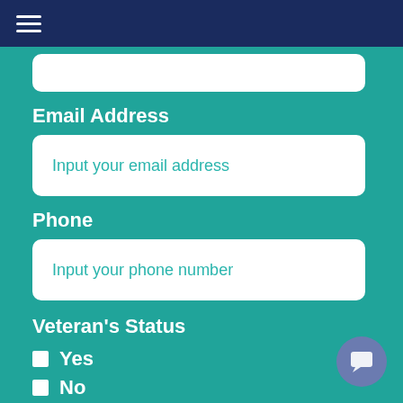≡ (hamburger menu)
(Input field, partially cropped)
Email Address
Input your email address
Phone
Input your phone number
Veteran's Status
Yes
No
Veteran Spouse